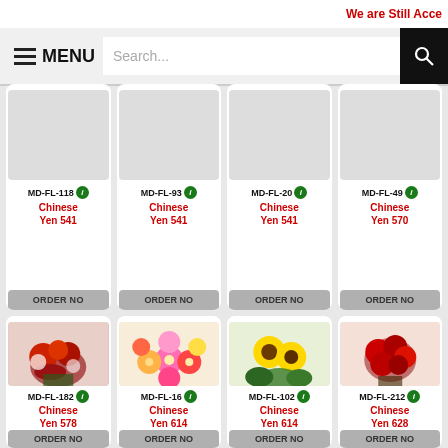We are Still Acce
MENU  Search...
MD-FL-118 | Chinese Yen 541 | ORDER NO
MD-FL-93 | Chinese Yen 541 | ORDER NO
MD-FL-20 | Chinese Yen 541 | ORDER NO
MD-FL-49 | Chinese Yen 570 | ORDER NO
[Figure (photo): Red roses and white flowers bouquet]
MD-FL-182 | Chinese Yen 578 | ORDER NO
[Figure (photo): Mixed colorful gerbera daisies bouquet]
MD-FL-16 | Chinese Yen 614 | ORDER NO
[Figure (photo): Sunflowers arrangement]
MD-FL-102 | Chinese Yen 614 | ORDER NO
[Figure (photo): Red roses bouquet]
MD-FL-212 | Chinese Yen 628 | ORDER NO